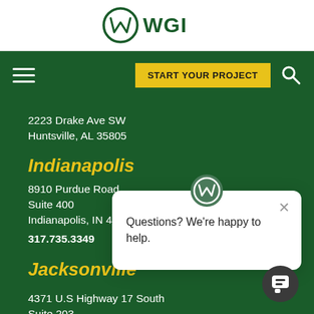[Figure (logo): WGI logo with circular W icon and WGI text in green]
[Figure (infographic): Navigation bar with hamburger menu, START YOUR PROJECT yellow button, and search icon on dark green background]
2223 Drake Ave SW
Huntsville, AL 35805
Indianapolis
8910 Purdue Road
Suite 400
Indianapolis, IN 46268
317.735.3349
Jacksonville
4371 U.S Highway 17 South
Suite 203
Fleming Island, FL 32003
904.470.4503
[Figure (screenshot): Chat popup widget with WGI logo at top, close X button, text 'Questions? We're happy to help.']
[Figure (infographic): Dark chat bubble button icon in bottom right]